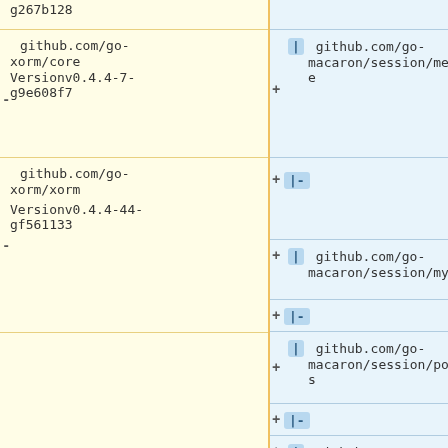g267b128
github.com/go-xorm/core VersionV0.4.4-7-g9e608f7
github.com/go-xorm/xorm VersionV0.4.4-44-gf561133
| github.com/go-macaron/session/memcache
|-
| github.com/go-macaron/session/mysql
+ |-
| github.com/go-macaron/session/postgres
+ |-
| github.com/go-macaron/session/redis
|| ||